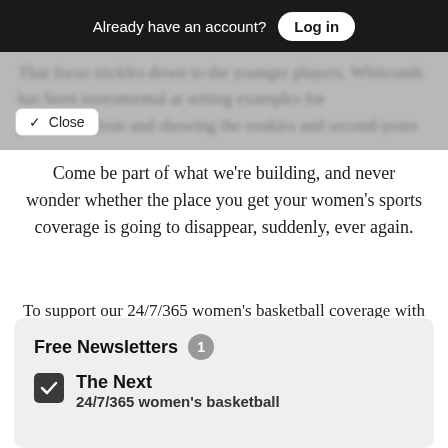Already have an account? Log in
That focus trickles down to the younger players. Whitcomb has been instrumental at setting examples for professionalism and showing the rookies and second-years
Come be part of what we're building, and never wonder whether the place you get your women's sports coverage is going to disappear, suddenly, ever again.
To support our 24/7/365 women's basketball coverage with a paid subscription, click here.
Free Newsletters 1
The Next
24/7/365 women's basketball